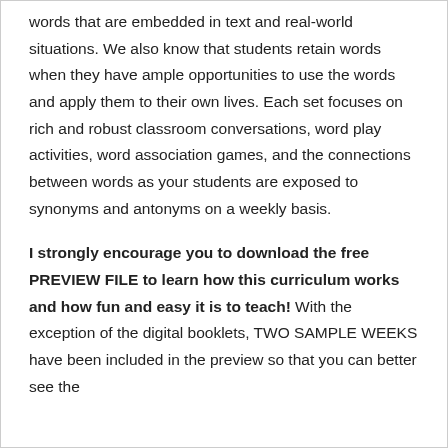words that are embedded in text and real-world situations. We also know that students retain words when they have ample opportunities to use the words and apply them to their own lives. Each set focuses on rich and robust classroom conversations, word play activities, word association games, and the connections between words as your students are exposed to synonyms and antonyms on a weekly basis.
I strongly encourage you to download the free PREVIEW FILE to learn how this curriculum works and how fun and easy it is to teach! With the exception of the digital booklets, TWO SAMPLE WEEKS have been included in the preview so that you can better see the